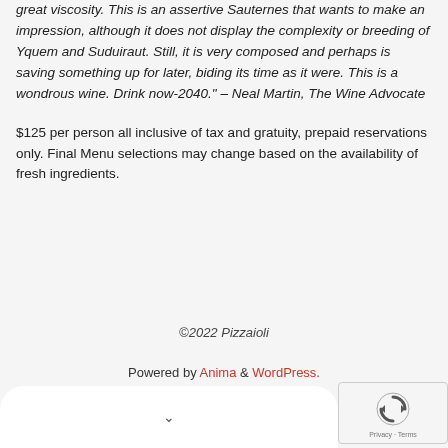great viscosity. This is an assertive Sauternes that wants to make an impression, although it does not display the complexity or breeding of Yquem and Suduiraut. Still, it is very composed and perhaps is saving something up for later, biding its time as it were. This is a wondrous wine. Drink now-2040." – Neal Martin, The Wine Advocate
$125 per person all inclusive of tax and gratuity, prepaid reservations only. Final Menu selections may change based on the availability of fresh ingredients.
©2022 Pizzaioli
Powered by Anima & WordPress.